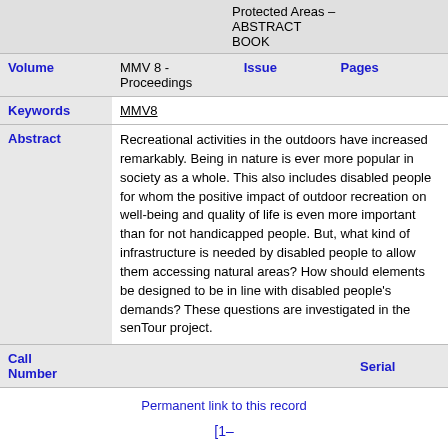|  | Protected Areas – ABSTRACT BOOK |
| Volume | MMV 8 - Proceedings | Issue |  | Pages |  |
| Keywords | MMV8 |
| Abstract | Recreational activities in the outdoors have increased remarkably. Being in nature is ever more popular in society as a whole. This also includes disabled people for whom the positive impact of outdoor recreation on well-being and quality of life is even more important than for not handicapped people. But, what kind of infrastructure is needed by disabled people to allow them accessing natural areas? How should elements be designed to be in line with disabled people's demands? These questions are investigated in the senTour project. |
| Call Number |  | Serial |  |
Permanent link to this record
[1–10]
<<
11
12
13
14